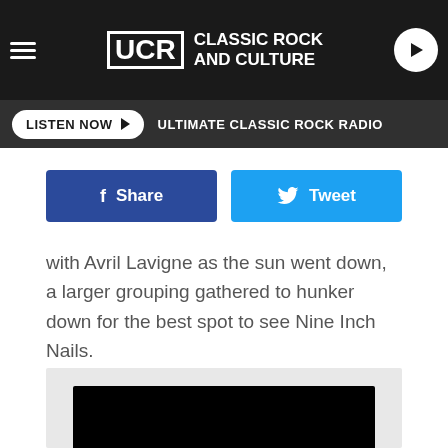UCR Classic Rock and Culture
LISTEN NOW ▶  ULTIMATE CLASSIC ROCK RADIO
[Figure (screenshot): Facebook Share button and Twitter Tweet button]
with Avril Lavigne as the sun went down, a larger grouping gathered to hunker down for the best spot to see Nine Inch Nails.
[Figure (screenshot): Embedded video player with black screen]